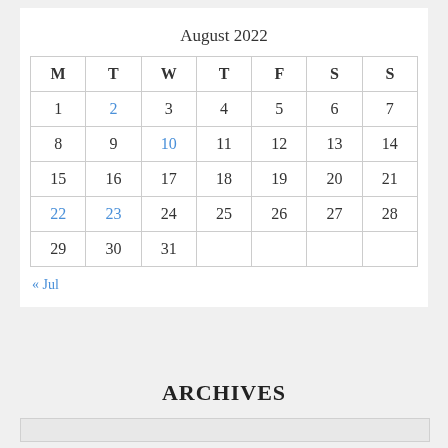| M | T | W | T | F | S | S |
| --- | --- | --- | --- | --- | --- | --- |
| 1 | 2 | 3 | 4 | 5 | 6 | 7 |
| 8 | 9 | 10 | 11 | 12 | 13 | 14 |
| 15 | 16 | 17 | 18 | 19 | 20 | 21 |
| 22 | 23 | 24 | 25 | 26 | 27 | 28 |
| 29 | 30 | 31 |  |  |  |  |
« Jul
ARCHIVES